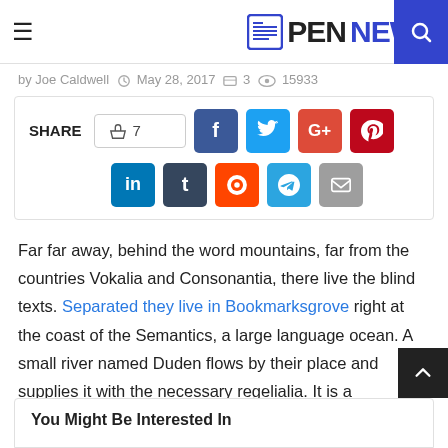PENNEWS
by Joe Caldwell  May 28, 2017  3  15933
[Figure (infographic): Social share buttons: thumbs up 7, Facebook, Twitter, Google+, Pinterest, LinkedIn, Tumblr, Reddit, Telegram, Email]
Far far away, behind the word mountains, far from the countries Vokalia and Consonantia, there live the blind texts. Separated they live in Bookmarksgrove right at the coast of the Semantics, a large language ocean. A small river named Duden flows by their place and supplies it with the necessary regelialia. It is a paradisematic country, in which roasted parts of sentences.
You Might Be Interested In